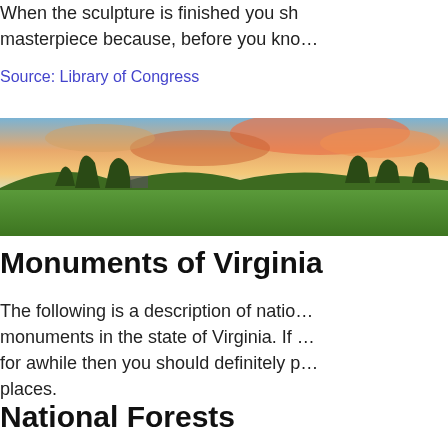When the sculpture is finished you sh… masterpiece because, before you kno…
Source: Library of Congress
[Figure (photo): Landscape photograph of green rolling hills at sunset with colorful sky and trees silhouetted in the background]
Monuments of Virginia
The following is a description of natio… monuments in the state of Virginia. If … for awhile then you should definitely p… places.
National Forests